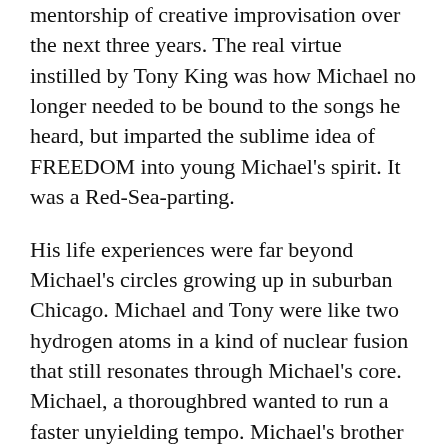mentorship of creative improvisation over the next three years. The real virtue instilled by Tony King was how Michael no longer needed to be bound to the songs he heard, but imparted the sublime idea of FREEDOM into young Michael's spirit. It was a Red-Sea-parting.
His life experiences were far beyond Michael's circles growing up in suburban Chicago. Michael and Tony were like two hydrogen atoms in a kind of nuclear fusion that still resonates through Michael's core. Michael, a thoroughbred wanted to run a faster unyielding tempo. Michael's brother David built a verbal wall of caution in a 1981 conversation "Don't study with John Suter unless you are really serious!" Michael promptly jumped over it, beginning a 10 year odyssey of Classical interpretation and technique study. His expertise